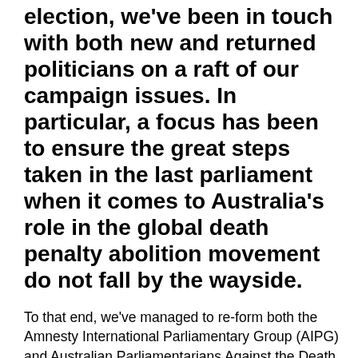election, we've been in touch with both new and returned politicians on a raft of our campaign issues. In particular, a focus has been to ensure the great steps taken in the last parliament when it comes to Australia's role in the global death penalty abolition movement do not fall by the wayside.
To that end, we've managed to re-form both the Amnesty International Parliamentary Group (AIPG) and Australian Parliamentarians Against the Death Penalty.